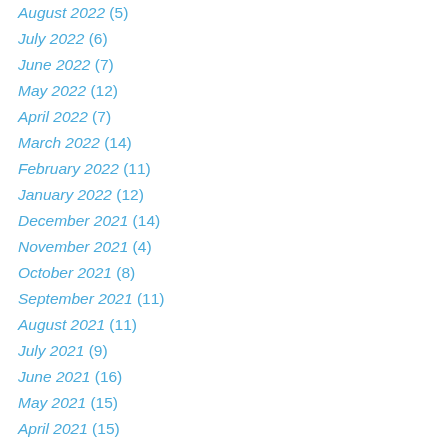August 2022 (5)
July 2022 (6)
June 2022 (7)
May 2022 (12)
April 2022 (7)
March 2022 (14)
February 2022 (11)
January 2022 (12)
December 2021 (14)
November 2021 (4)
October 2021 (8)
September 2021 (11)
August 2021 (11)
July 2021 (9)
June 2021 (16)
May 2021 (15)
April 2021 (15)
March 2021 (13)
February 2021 (15)
January 2021 (15)